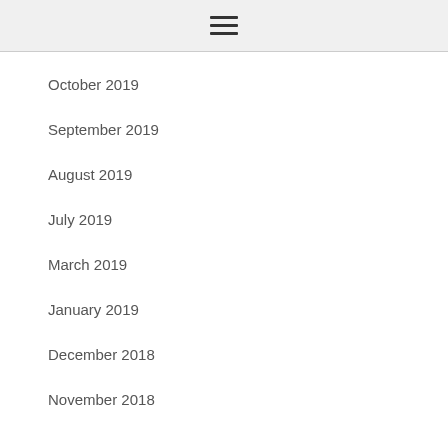≡
October 2019
September 2019
August 2019
July 2019
March 2019
January 2019
December 2018
November 2018